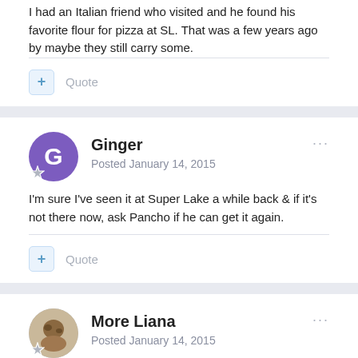I had an Italian friend who visited and he found his favorite flour for pizza at SL. That was a few years ago by maybe they still carry some.
Quote
Ginger
Posted January 14, 2015
I'm sure I've seen it at Super Lake a while back & if it's not there now, ask Pancho if he can get it again.
Quote
More Liana
Posted January 14, 2015